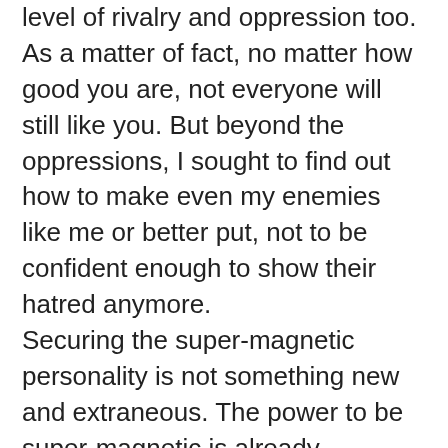level of rivalry and oppression too. As a matter of fact, no matter how good you are, not everyone will still like you. But beyond the oppressions, I sought to find out how to make even my enemies like me or better put, not to be confident enough to show their hatred anymore. Securing the super-magnetic personality is not something new and extraneous. The power to be super-magnetic is already hardwired into you, you just have to let it out. However, one important thing to note here is that people are attracted to those they feel are powerful. Let me save this here for later